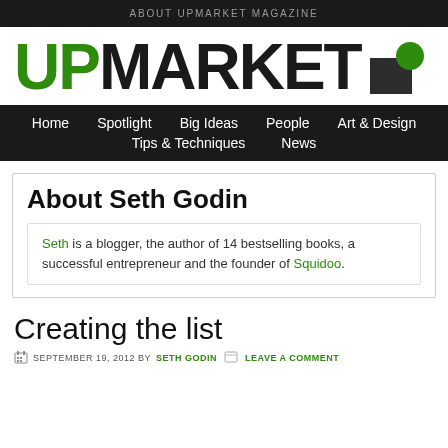ABOUT UPMARKET MAGAZINE
[Figure (logo): UPMARKET magazine logo with UP in green and MARKET in black, with a geometric icon (dark square with green circle)]
Home  Spotlight  Big Ideas  People  Art & Design  Tips & Techniques  News
About Seth Godin
Seth is a blogger, the author of 14 bestselling books, a successful entrepreneur and the founder of Squidoo.
Creating the list
SEPTEMBER 19, 2012 BY SETH GODIN   LEAVE A COMMENT